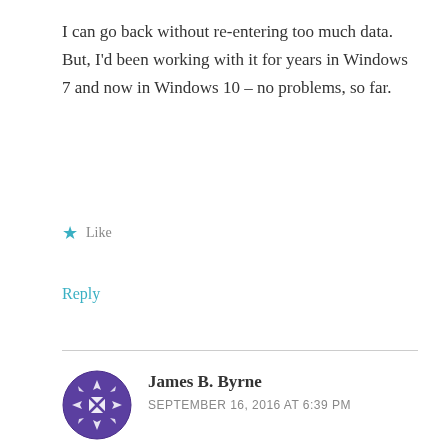I can go back without re-entering too much data. But, I'd been working with it for years in Windows 7 and now in Windows 10 – no problems, so far.
★ Like
Reply
James B. Byrne
SEPTEMBER 16, 2016 AT 6:39 PM
I found QB phone support to be very helpful in assisting me install an ancient upgrade to QB2002 from QB2000 on a Win 7 system. The software had previously been installed on an XPsp3 host that is finally being shutdown. Installing it under Win 7 was